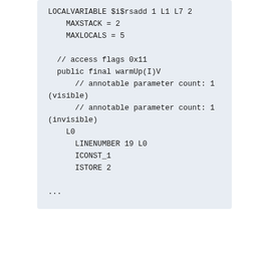LOCALVARIABLE $i$rsadd 1 L1 L7 2
    MAXSTACK = 2
    MAXLOCALS = 5

  // access flags 0x11
  public final warmUp(I)V
      // annotable parameter count: 1 (visible)
      // annotable parameter count: 1 (invisible)
    L0
      LINENUMBER 19 L0
      ICONST_1
      ISTORE 2

...